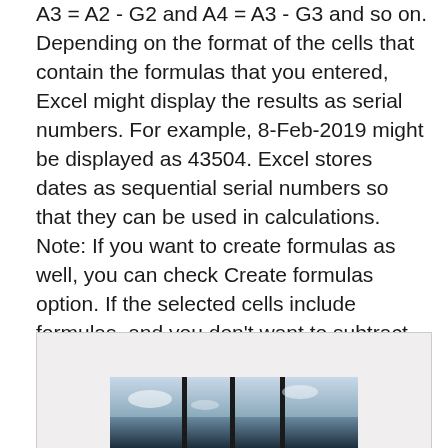A3 = A2 - G2 and A4 = A3 - G3 and so on. Depending on the format of the cells that contain the formulas that you entered, Excel might display the results as serial numbers. For example, 8-Feb-2019 might be displayed as 43504. Excel stores dates as sequential serial numbers so that they can be used in calculations. Note: If you want to create formulas as well, you can check Create formulas option. If the selected cells include formulas, and you don't want to subtract the calculated results of formulas, please check Skip formula cells option. Kutools for Excel - Includes more than 300 handy tools for Excel.
[Figure (screenshot): A screenshot or image showing what appears to be a spreadsheet or document interface with dark columns/dividers visible at the bottom of the page.]